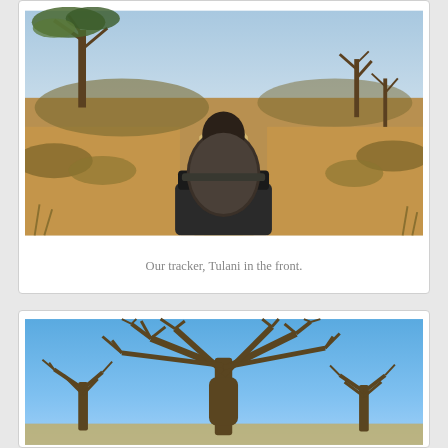[Figure (photo): Safari photo: view from the back of a game drive vehicle, showing a tracker (Tulani) seated in front seat, looking down a sandy dirt road through dry African bush with sparse trees, warm afternoon light]
Our tracker, Tulani in the front.
[Figure (photo): Safari photo: wide shot of large bare-branched trees (likely baobab or marula) against a bright blue sky, dry African savanna landscape]